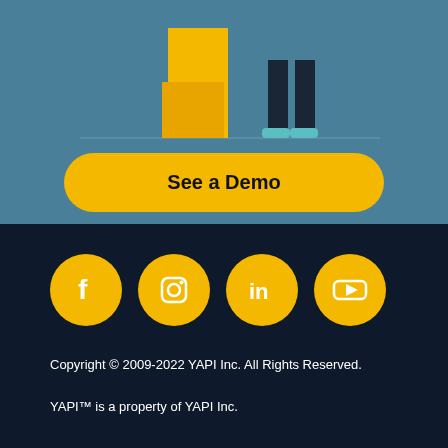[Figure (illustration): Partial illustration of a person standing next to yellow rectangular blocks/boxes on a teal/steel blue background. Only the lower body (legs and feet with teal shoes) and the yellow blocks are visible, suggesting a bar chart or staircase illustration.]
See a Demo
[Figure (infographic): Four social media icons in yellow circles: Facebook (f), Instagram (camera lens), LinkedIn (in), and YouTube (play button triangle).]
Copyright © 2009-2022 YAPI Inc. All Rights Reserved.
YAPI™ is a property of YAPI Inc.